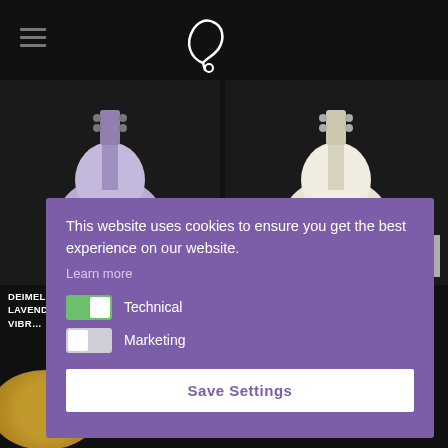Deimel Guitarworks — Navigation header with logo
[Figure (screenshot): Deimel Firestar Saturn Lavender guitar product image with QUICK VIEW button]
[Figure (screenshot): Deimel Firestar Parchment White guitar product image with QUICK VIEW button]
DEIMEL FIRESTAR »SATURN LAVENDER« W/ MASTERY VIBR…
DEIMEL FIRESTAR »PARCHMENT WHITE« W/ NATURAL…
This website uses cookies to ensure you get the best experience on our website.
Learn more
Technical
Marketing
Save Settings